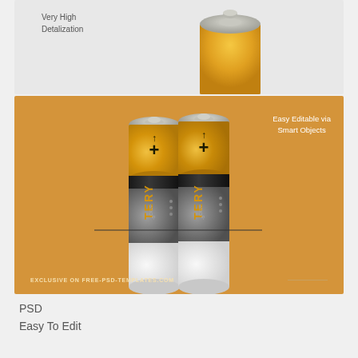[Figure (photo): Top portion of a golden/yellow AA battery tip against a light gray background, with 'Very High Detalization' text label]
Very High
Detalization
[Figure (photo): Two AA batteries with golden/yellow top sections, black band, gray middle with BATTERY MOCKUP text, and white bottom, standing side by side on an orange background. Text overlay: 'Easy Editable via Smart Objects'. Bottom text: 'EXCLUSIVE ON FREE-PSD-TEMPLATES.COM']
Easy Editable via
Smart Objects
EXCLUSIVE ON FREE-PSD-TEMPLATES.COM
PSD
Easy To Edit